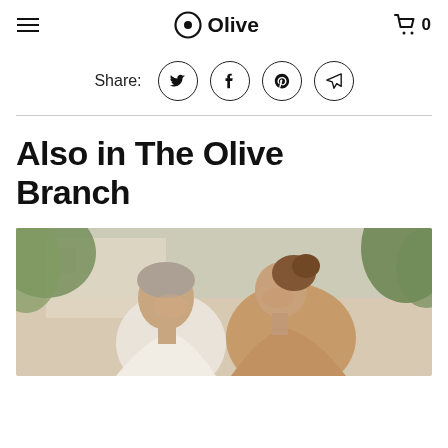Olive (logo with hamburger menu and cart icon showing 0)
Share:
[Figure (infographic): Social share icons: Twitter, Facebook, Pinterest, and Send/Email, each in a circle]
Also in The Olive Branch
[Figure (photo): Two women outdoors, an older and a younger woman, looking at each other and smiling, with trees and a building in the background]